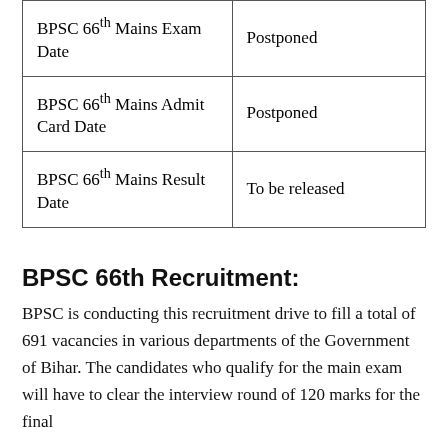| BPSC 66th Mains Exam Date | Postponed |
| BPSC 66th Mains Admit Card Date | Postponed |
| BPSC 66th Mains Result Date | To be released |
BPSC 66th Recruitment:
BPSC is conducting this recruitment drive to fill a total of 691 vacancies in various departments of the Government of Bihar. The candidates who qualify for the main exam will have to clear the interview round of 120 marks for the final